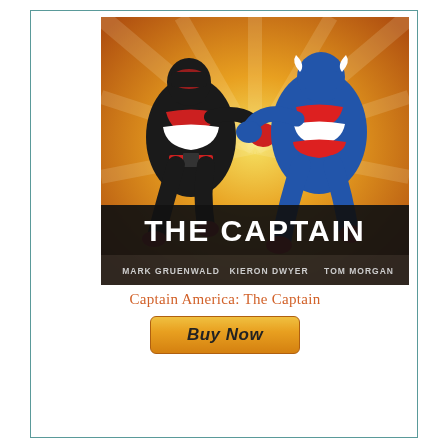[Figure (illustration): Comic book cover of 'Captain America: The Captain' showing two superhero figures in a confrontation, one in black and red costume and one in the classic Captain America blue, red and white costume. Title reads 'THE CAPTAIN' with credits: Mark Gruenwald, Kieron Dwyer, Tom Morgan.]
Captain America: The Captain
[Figure (other): Buy Now button (orange/yellow gradient) followed by 'at amazon.com' text with Amazon smile logo underneath]